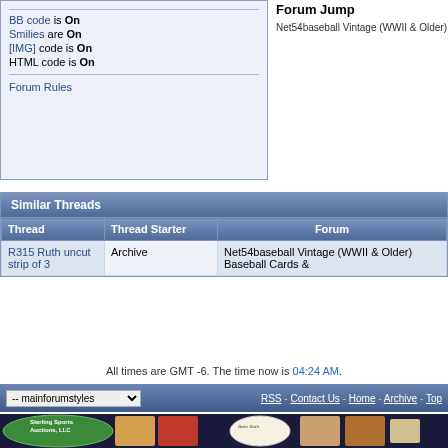BB code is On
Smilies are On
[IMG] code is On
HTML code is On
Forum Rules
Forum Jump
Net54baseball Vintage (WWII & Older)
Similar Threads
| Thread | Thread Starter | Forum |
| --- | --- | --- |
| R315 Ruth uncut strip of 3 | Archive | Net54baseball Vintage (WWII & Older) Baseball Cards & |
All times are GMT -6. The time now is 04:24 AM.
-- mainforumstyles  RSS - Contact Us - Home - Archive - Top
[Figure (photo): Sterling Sports Auctions LLC banner with sports cards including Babe Ruth signed baseball and vintage football card]